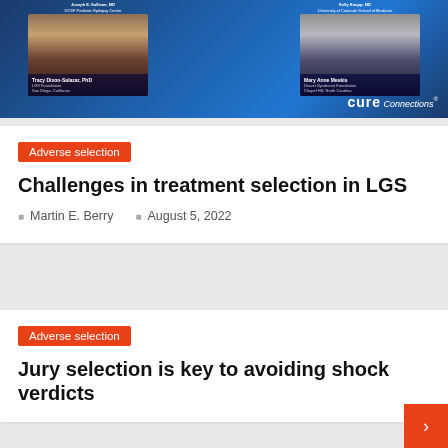[Figure (screenshot): Video panel screenshot showing two speakers in a CURE Connections webinar. Left panel shows a woman with dark hair and glasses (Tracy Dixon-Salazar, PhD, LGS Foundation, San Diego, California). Right panel shows a woman with light hair (Mary Anne Meskis, Dravet Syndrome Foundation, Chapel Hill, North Carolina). Blue branded background with CURE Connections logo in bottom right.]
Adverse selection
Challenges in treatment selection in LGS
Martin E. Berry   August 5, 2022
Adverse selection
Jury selection is key to avoiding shock verdicts